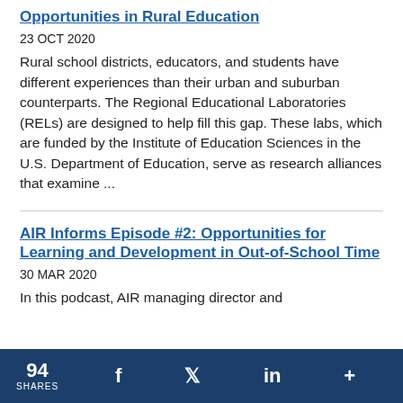Opportunities in Rural Education
23 OCT 2020
Rural school districts, educators, and students have different experiences than their urban and suburban counterparts. The Regional Educational Laboratories (RELs) are designed to help fill this gap. These labs, which are funded by the Institute of Education Sciences in the U.S. Department of Education, serve as research alliances that examine ...
AIR Informs Episode #2: Opportunities for Learning and Development in Out-of-School Time
30 MAR 2020
In this podcast, AIR managing director and
94 SHARES  f  (twitter)  in  +